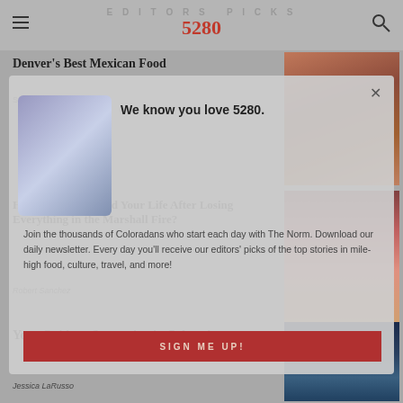EDITORS PICKS
5280
Denver's Best Mexican Food
Staff
How Do You Rebuild Your Life After Losing Everything in the Marshall Fire?
Robert Sanchez
Your Guide to Stargazing in Colorado
Jessica LaRusso
[Figure (screenshot): Newsletter signup modal overlay with phone image, headline 'We know you love 5280.', body text about joining thousands of Coloradans, and a red SIGN ME UP button]
We know you love 5280.
Join the thousands of Coloradans who start each day with The Norm. Download our daily newsletter. Every day you'll receive our editors' picks of the top stories in mile-high food, culture, travel, and more!
SIGN ME UP!